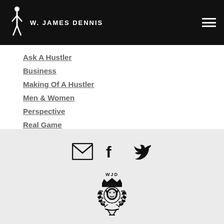W. JAMES DENNIS
Ask A Hustler
Business
Making Of A Hustler
Men & Women
Perspective
Real Game
RSS Feed
[Figure (logo): WJD crest logo with lion and laurel wreath, social icons for email, facebook, twitter above]
WJD